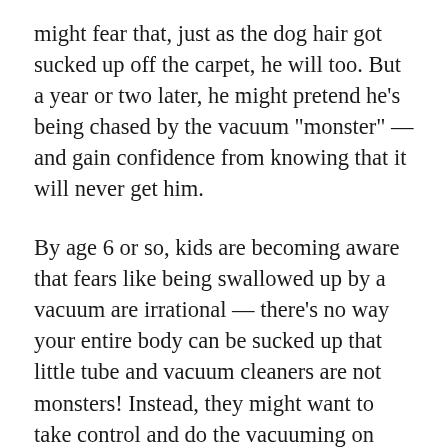might fear that, just as the dog hair got sucked up off the carpet, he will too. But a year or two later, he might pretend he's being chased by the vacuum "monster" — and gain confidence from knowing that it will never get him.
By age 6 or so, kids are becoming aware that fears like being swallowed up by a vacuum are irrational — there's no way your entire body can be sucked up that little tube and vacuum cleaners are not monsters! Instead, they might want to take control and do the vacuuming on their own. This scenario will be repeated again and again as a child learns to tell the difference between the possible and the impossible.
This is also a time when your fantastical answers